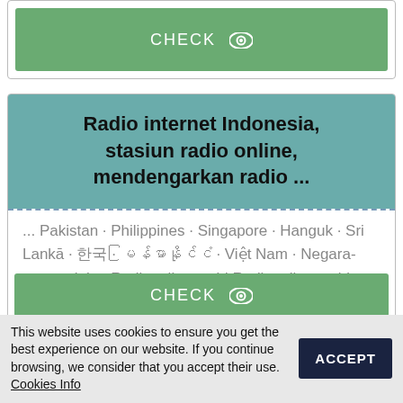[Figure (screenshot): Green CHECK button with eye icon at top]
Radio internet Indonesia, stasiun radio online, mendengarkan radio ...
... Pakistan · Philippines · Singapore · Hanguk · Sri Lankā · 한국 · မြန်မာနိုင်ငံ · Việt Nam · Negara-negara lain · Radioonline.co.id Radioonline.co.id. Menu ...
[Figure (screenshot): Green CHECK button with eye icon at bottom]
This website uses cookies to ensure you get the best experience on our website. If you continue browsing, we consider that you accept their use. Cookies Info